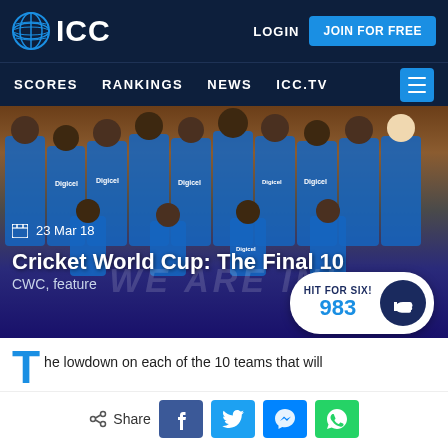ICC | LOGIN | JOIN FOR FREE | SCORES | RANKINGS | NEWS | ICC.TV
[Figure (photo): Group photo of West Indies cricket team in blue Digicel jerseys celebrating in a locker room]
23 Mar 18
Cricket World Cup: The Final 10
CWC, feature
HIT FOR SIX! 983
The lowdown on each of the 10 teams that will
Share